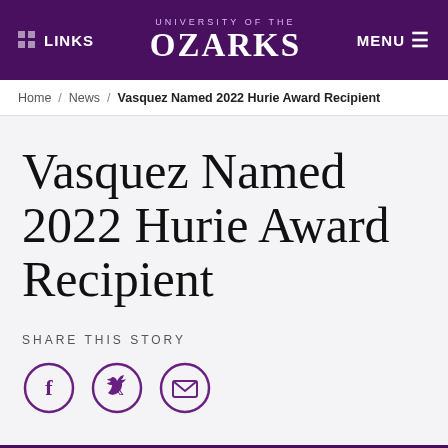LINKS | UNIVERSITY OF THE OZARKS | MENU
Home / News / Vasquez Named 2022 Hurie Award Recipient
Vasquez Named 2022 Hurie Award Recipient
SHARE THIS STORY
[Figure (other): Social share icons: Facebook, Twitter, Email]